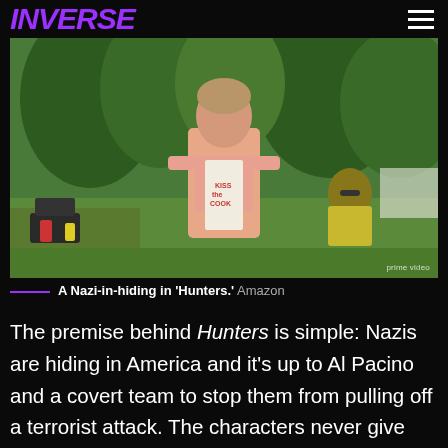INVERSE
[Figure (photo): A man wearing a 'Kiss the Cook' apron standing at a backyard barbecue, with green trees and another person seated in background. Prime Video watermark visible.]
A Nazi-in-hiding in 'Hunters.' Amazon
The premise behind Hunters is simple: Nazis are hiding in America and it's up to Al Pacino and a covert team to stop them from pulling off a terrorist attack. The characters never give much thought to how these Nazis made it into the country (they snuck in with fake names